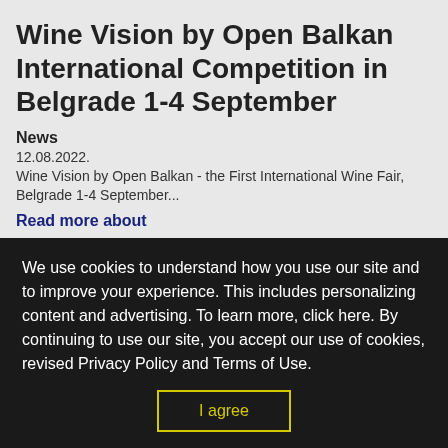Wine Vision by Open Balkan International Competition in Belgrade 1-4 September
News
12.08.2022.
Wine Vision by Open Balkan - the First International Wine Fair, Belgrade 1-4 September...
Read more about
Trade Guides
We use cookies to understand how you use our site and to improve your experience. This includes personalizing content and advertising. To learn more, click here. By continuing to use our site, you accept our use of cookies, revised Privacy Policy and Terms of Use.
I agree